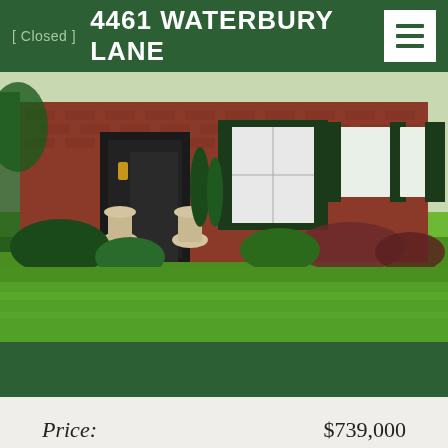[ Closed ]   4461 WATERBURY LANE
[Figure (photo): Exterior photo of a brick colonial-style home with black shutters, white-framed windows, decorative urns flanking the front door, lush green lawn, and ornamental shrubs and landscaping in the foreground.]
Price:   $739,000